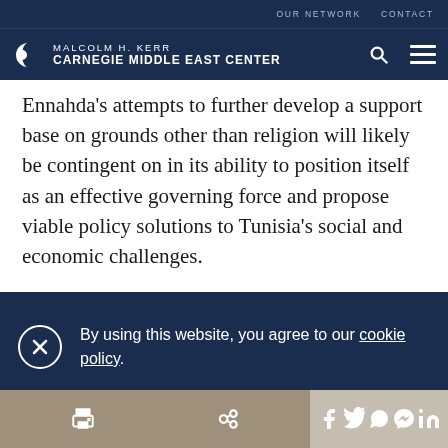OUR NETWORK   CONTACT
MALCOLM H. KERR CARNEGIE MIDDLE EAST CENTER
Ennahda's attempts to further develop a support base on grounds other than religion will likely be contingent on in its ability to position itself as an effective governing force and propose viable policy solutions to Tunisia's social and economic challenges.
By using this website, you agree to our cookie policy.